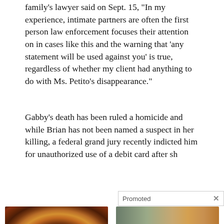family's lawyer said on Sept. 15, "In my experience, intimate partners are often the first person law enforcement focuses their attention on in cases like this and the warning that 'any statement will be used against you' is true, regardless of whether my client had anything to do with Ms. Petito's disappearance."
Gabby's death has been ruled a homicide and while Brian has not been named a suspect in her killing, a federal grand jury recently indicted him for unauthorized use of a debit card after sh[cut off]
[Figure (other): Promoted content overlay bar with X close button]
[Figure (photo): Close-up photo of a human eye with a hazel/brown iris]
How Your Body Warns You That Dementia Is Forming
🔥 46,584
[Figure (photo): Collage image of a fit woman and a pile of yellow spice powder]
A Teaspoon On An Empty Stomach Burns Fat Like Crazy!
🔥 100,458